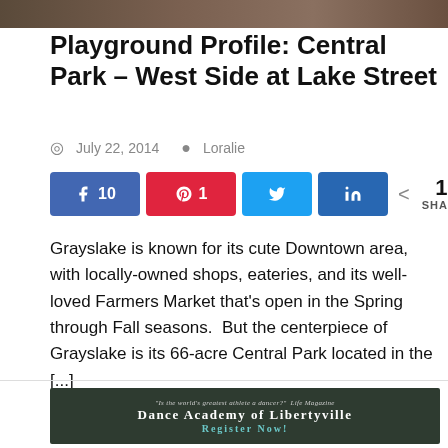[Figure (photo): Top strip of a photo showing outdoor scene, partially cropped]
Playground Profile: Central Park – West Side at Lake Street
July 22, 2014   Loralie
[Figure (infographic): Social share buttons: Facebook 10, Pinterest 1, Twitter, LinkedIn — 11 SHARES total]
Grayslake is known for its cute Downtown area, with locally-owned shops, eateries, and its well-loved Farmers Market that's open in the Spring through Fall seasons.  But the centerpiece of Grayslake is its 66-acre Central Park located in the [...]
[Figure (other): Dance Academy of Libertyville advertisement banner: 'Is the world's greatest athlete a dancer?' — Life Magazine. Dance Academy of Libertyville. Register Now!]